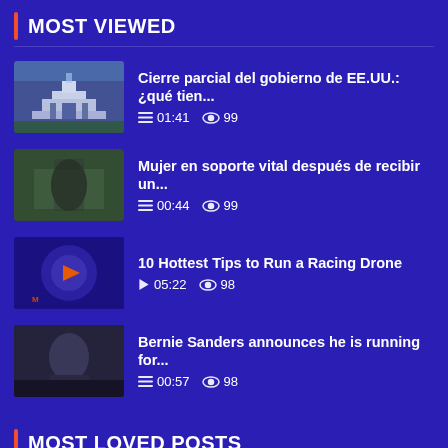MOST VIEWED
Cierre parcial del gobierno de EE.UU.: ¿qué tien... | 01:41 | 99 views
Mujer en soporte vital después de recibir un... | 00:44 | 99 views
10 Hottest Tips to Run a Racing Drone | 05:22 | 98 views
Bernie Sanders announces he is running for... | 00:57 | 98 views
MOST LOVED POSTS
Mujer en estado vegetativo por más de una... | 03:38 | 4 loves
Celebra todas las mamás – incluso a las soltera...